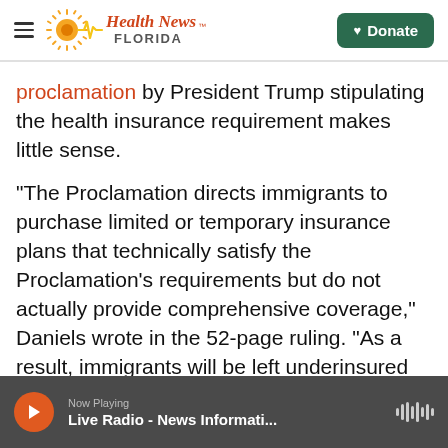Health News Florida — Donate
proclamation by President Trump stipulating the health insurance requirement makes little sense.
"The Proclamation directs immigrants to purchase limited or temporary insurance plans that technically satisfy the Proclamation's requirements but do not actually provide comprehensive coverage," Daniels wrote in the 52-page ruling. "As a result, immigrants will be left underinsured and at greater risk of incurring uncompensated costs that will ultimately fall on and burden local and state governments."
Now Playing — Live Radio - News Informati...